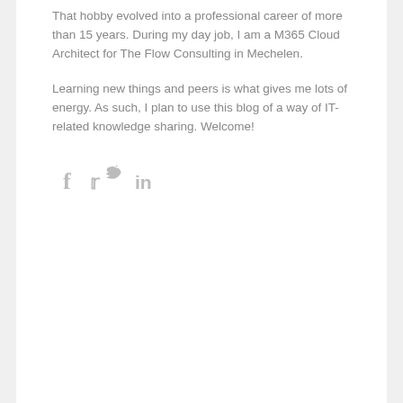That hobby evolved into a professional career of more than 15 years. During my day job, I am a M365 Cloud Architect for The Flow Consulting in Mechelen.
Learning new things and peers is what gives me lots of energy. As such, I plan to use this blog of a way of IT-related knowledge sharing. Welcome!
[Figure (other): Social media icons: Facebook (f), Twitter (bird icon), LinkedIn (in)]